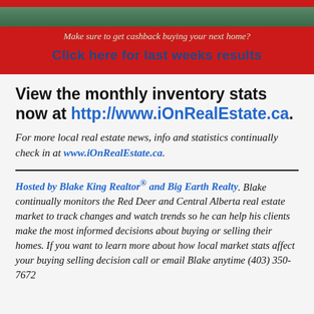[Figure (infographic): Red banner advertisement with dark green image strip at top, italic tagline 'Make sure to get cashback buying your next home?' and bold blue CTA 'Click here for last weeks results']
View the monthly inventory stats now at http://www.iOnRealEstate.ca.
For more local real estate news, info and statistics continually check in at www.iOnRealEstate.ca.
Hosted by Blake King Realtor® and Big Earth Realty. Blake continually monitors the Red Deer and Central Alberta real estate market to track changes and watch trends so he can help his clients make the most informed decisions about buying or selling their homes. If you want to learn more about how local market stats affect your buying selling decision call or email Blake anytime (403) 350-7672